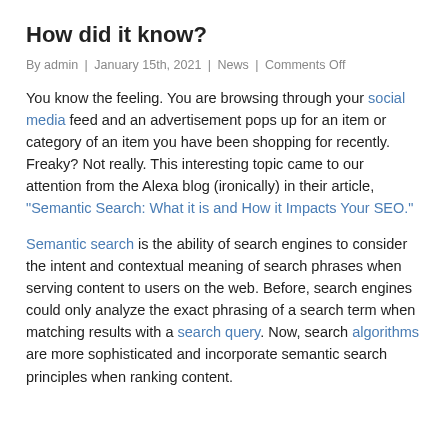How did it know?
By admin | January 15th, 2021 | News | Comments Off
You know the feeling. You are browsing through your social media feed and an advertisement pops up for an item or category of an item you have been shopping for recently. Freaky? Not really. This interesting topic came to our attention from the Alexa blog (ironically) in their article, “Semantic Search: What it is and How it Impacts Your SEO.”
Semantic search is the ability of search engines to consider the intent and contextual meaning of search phrases when serving content to users on the web. Before, search engines could only analyze the exact phrasing of a search term when matching results with a search query. Now, search algorithms are more sophisticated and incorporate semantic search principles when ranking content.